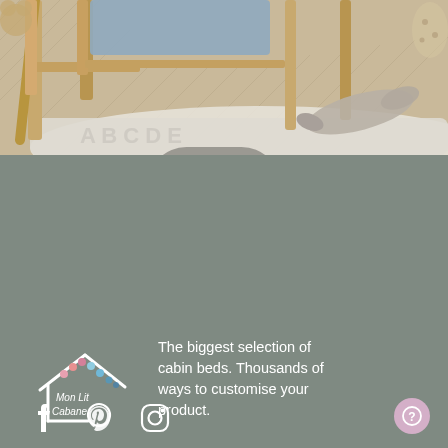[Figure (photo): Photo of a children's room with a wooden cabin-style bed frame, a herringbone parquet floor, a large white rug with embossed letters, and a gray stuffed whale toy.]
[Figure (logo): Mon Lit Cabane logo: white house outline with colorful dots on roof, and text 'Mon Lit Cabane' beneath.]
The biggest selection of cabin beds. Thousands of ways to customise your product.
Mon Lit Cabane, 12 Route de Pitoys, 64600 ANGLET
Call Us : 00 33 5 59 22 94 94
E-mail : info@monlitcabane.com
[Figure (illustration): Social media icons: Facebook, Pinterest, Instagram]